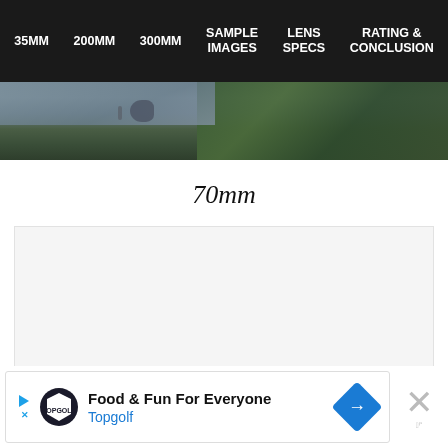35MM   200MM   300MM   SAMPLE IMAGES   LENS SPECS   RATING & CONCLUSION
[Figure (photo): Partial nature photograph showing water/lake scene with birds and foliage, cropped at top of visible area]
70mm
[Figure (photo): Large image area (loading placeholder) for 70mm lens sample image]
[Figure (other): Advertisement banner: Topgolf - Food & Fun For Everyone, with map/directions icon and close button]